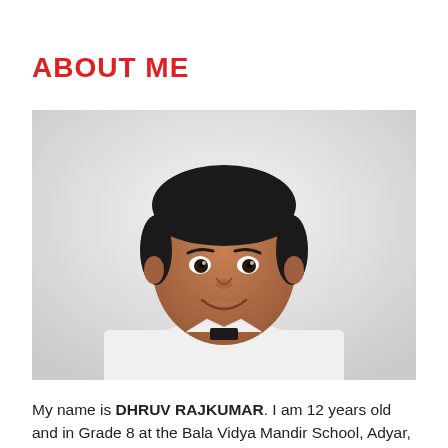ABOUT ME
[Figure (photo): Portrait photo of a young teenage boy (Dhruv Rajkumar) smiling, wearing a white shirt, against a light grey/white background.]
My name is DHRUV RAJKUMAR. I am 12 years old and in Grade 8 at the Bala Vidya Mandir School, Adyar, Chennai.